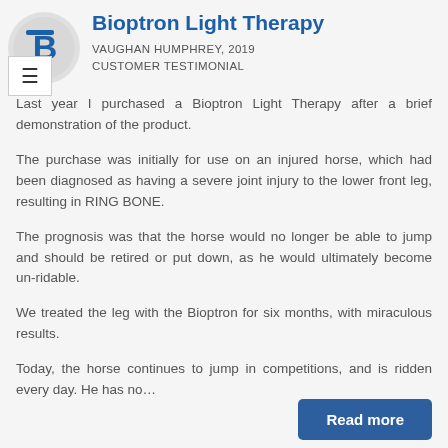[Figure (logo): Bioptron logo: blue stylized B/13 on gray circle background]
Bioptron Light Therapy
VAUGHAN HUMPHREY, 2019
CUSTOMER TESTIMONIAL
Last year I purchased a Bioptron Light Therapy after a brief demonstration of the product.
The purchase was initially for use on an injured horse, which had been diagnosed as having a severe joint injury to the lower front leg, resulting in RING BONE.
The prognosis was that the horse would no longer be able to jump and should be retired or put down, as he would ultimately become un-ridable.
We treated the leg with the Bioptron for six months, with miraculous results.
Today, the horse continues to jump in competitions, and is ridden every day. He has no…
Read more